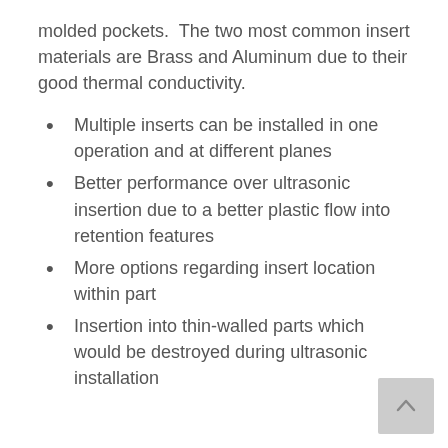molded pockets.  The two most common insert materials are Brass and Aluminum due to their good thermal conductivity.
Multiple inserts can be installed in one operation and at different planes
Better performance over ultrasonic insertion due to a better plastic flow into retention features
More options regarding insert location within part
Insertion into thin-walled parts which would be destroyed during ultrasonic installation